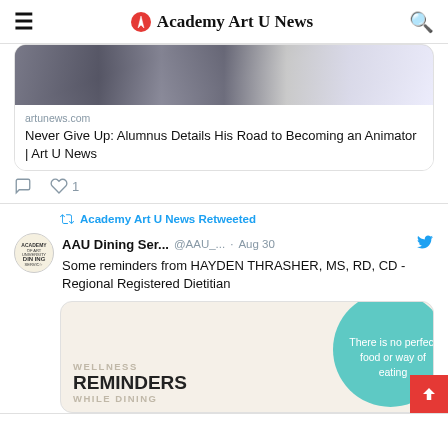Academy Art U News
[Figure (screenshot): Partial photo of people, cropped at top of frame]
artunews.com
Never Give Up: Alumnus Details His Road to Becoming an Animator | Art U News
1 like
Academy Art U News Retweeted
AAU Dining Ser... @AAU_... · Aug 30
Some reminders from HAYDEN THRASHER, MS, RD, CD - Regional Registered Dietitian
[Figure (infographic): Wellness Reminders While Dining infographic with teal circle saying 'There is no perfect food or way of eating']